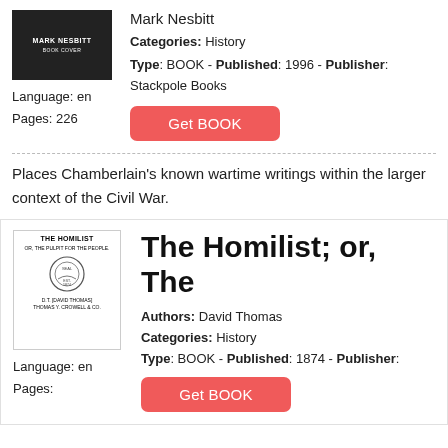[Figure (photo): Book cover thumbnail dark background with author name Mark Nesbitt]
Language: en
Pages: 226
Mark Nesbitt
Categories: History
Type: BOOK - Published: 1996 - Publisher: Stackpole Books
Get BOOK
Places Chamberlain's known wartime writings within the larger context of the Civil War.
[Figure (photo): Book cover for The Homilist with decorative seal and title page style layout]
The Homilist; or, The
Language: en
Pages:
Authors: David Thomas
Categories: History
Type: BOOK - Published: 1874 - Publisher:
Get BOOK